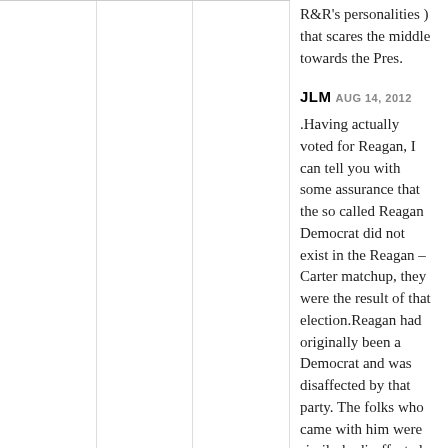R&R's personalities ) that scares the middle towards the Pres.
JLM AUG 14, 2012
.Having actually voted for Reagan, I can tell you with some assurance that the so called Reagan Democrat did not exist in the Reagan – Carter matchup, they were the result of that election.Reagan had originally been a Democrat and was disaffected by that party. The folks who came with him were similarly disaffected. They came with Reagan because he had toured the country for years as a spokesman for Westinghouse and had been a trade show spokesperson.